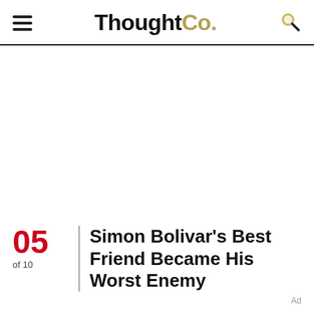ThoughtCo.
[Figure (other): Large white advertisement space in the center of the page]
05 of 10
Simon Bolivar's Best Friend Became His Worst Enemy
Ad